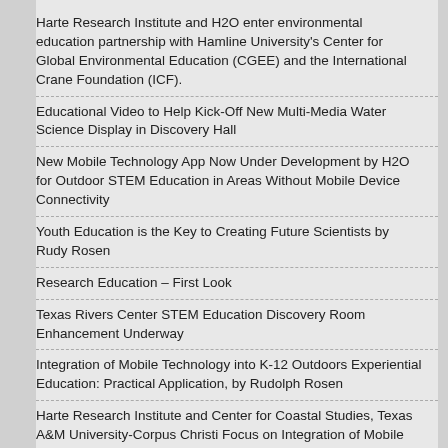Harte Research Institute and H2O enter environmental education partnership with Hamline University's Center for Global Environmental Education (CGEE) and the International Crane Foundation (ICF).
Educational Video to Help Kick-Off New Multi-Media Water Science Display in Discovery Hall
New Mobile Technology App Now Under Development by H2O for Outdoor STEM Education in Areas Without Mobile Device Connectivity
Youth Education is the Key to Creating Future Scientists by Rudy Rosen
Research Education – First Look
Texas Rivers Center STEM Education Discovery Room Enhancement Underway
Integration of Mobile Technology into K-12 Outdoors Experiential Education: Practical Application, by Rudolph Rosen
Harte Research Institute and Center for Coastal Studies, Texas A&M University-Corpus Christi Focus on Integration of Mobile Technology for Bays and Estuaries Student Field Studies
H2O Partner, River Systems Institute, to enhance outdoor STEM education opportunities for students at Spring Lake, headwaters of the San Marcos River
Prototype STEM Education Technology for Texas Rivers Center